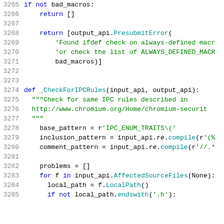Code listing lines 3265-3285 showing Python source code with syntax highlighting. Functions include _CheckForIPCRules with docstring, variable assignments for base_pattern, inclusion_pattern, comment_pattern, and a for loop iterating over AffectedSourceFiles.